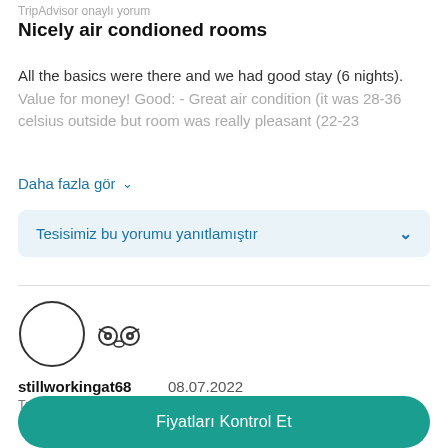TripAdvisor onaylı yorum
Nicely air condioned rooms
All the basics were there and we had good stay (6 nights). Value for money! Good: - Great air condition (it was 28-36 celsius outside but room was really pleasant (22-23
Daha fazla gör ∨
Tesisimiz bu yorumu yanıtlamıştır ∨
[Figure (other): Circular avatar placeholder outline, TripAdvisor owl logo icon]
stillworkingat68   08.07.2022
TripAdvisor onaylı yorum
Value for money
Fiyatları Kontrol Et
more expensive. Yes, the rooms are really only suitable for